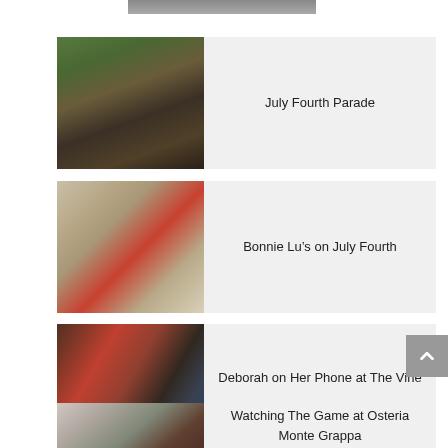[Figure (photo): Partial top of a photo, cropped at top of page]
[Figure (photo): People on horseback in a July Fourth parade, wearing cowboy hats, trees in background]
July Fourth Parade
[Figure (photo): Storefront with large windows and red door, decorated with balloons for July Fourth]
Bonnie Lu's on July Fourth
[Figure (photo): Woman in red hat on phone at The Vine bar, TV and bar bottles in background]
Deborah on Her Phone at The Vine
[Figure (photo): Interior of Osteria Monte Grappa restaurant, people watching a game]
Watching The Game at Osteria Monte Grappa